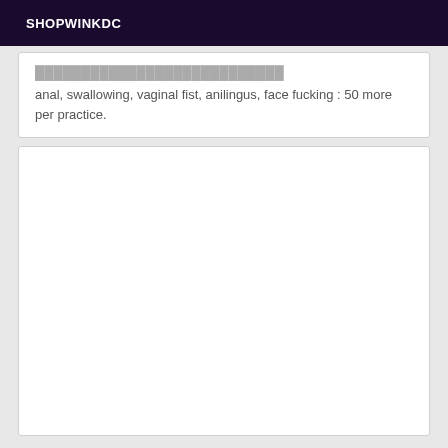SHOPWINKDC
anal, swallowing, vaginal fist, anilingus, face fucking : 50 more per practice.